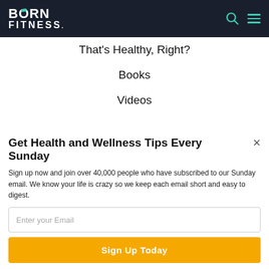Born Fitness — navigation header
That's Healthy, Right?
Books
Videos
COMPANY
[Figure (logo): POWERED BY SUMO badge with crown logo]
Get Health and Wellness Tips Every Sunday
Sign up now and join over 40,000 people who have subscribed to our Sunday email. We know your life is crazy so we keep each email short and easy to digest.
Enter your Email
Sign Up Today